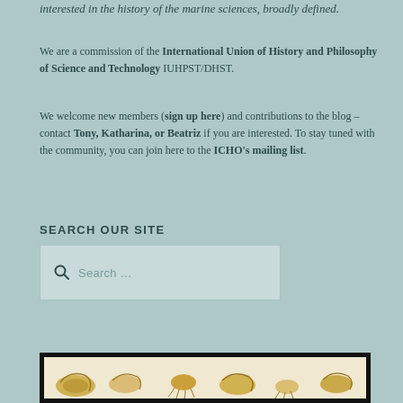interested in the history of the marine sciences, broadly defined.
We are a commission of the International Union of History and Philosophy of Science and Technology IUHPST/DHST.
We welcome new members (sign up here) and contributions to the blog – contact Tony, Katharina, or Beatriz if you are interested. To stay tuned with the community, you can join here to the ICHO's mailing list.
SEARCH OUR SITE
Search ...
[Figure (illustration): Illustrated sea creatures (mollusks/cephalopods) shown at the bottom of the page, partially visible, with a thick black border frame.]